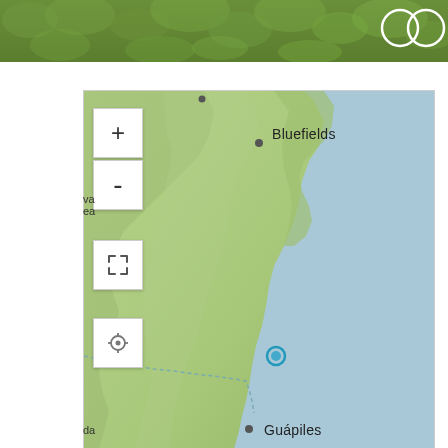[Figure (map): Aerial/satellite top strip showing green forest canopy with a white overlapping circles logo in the upper right corner]
[Figure (map): Interactive map showing the Caribbean coast of Central America (Nicaragua/Costa Rica region). The land is shown in muted green topographic shading, the sea in pale blue. Labeled cities include Bluefields (upper area, with a dark dot marker) and Guápiles (lower area). A cyan/blue circular marker is visible mid-map near the coast. Map controls visible on the left: zoom in (+), zoom out (-), expand/fullscreen, and a locate/GPS button. Partial text 'va', 'ea', 'da' visible at left edge (cut off). A dashed border line runs through the lower portion of the map.]